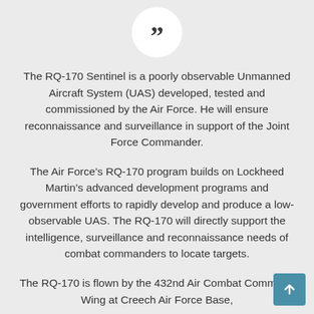[Figure (illustration): White circle with large dark quotation mark symbol centered at top of page]
The RQ-170 Sentinel is a poorly observable Unmanned Aircraft System (UAS) developed, tested and commissioned by the Air Force. He will ensure reconnaissance and surveillance in support of the Joint Force Commander.
The Air Force’s RQ-170 program builds on Lockheed Martin’s advanced development programs and government efforts to rapidly develop and produce a low-observable UAS. The RQ-170 will directly support the intelligence, surveillance and reconnaissance needs of combat commanders to locate targets.
The RQ-170 is flown by the 432nd Air Combat Command Wing at Creech Air Force Base,
[Figure (illustration): Teal/blue scroll-to-top button with upward arrow in bottom right corner]